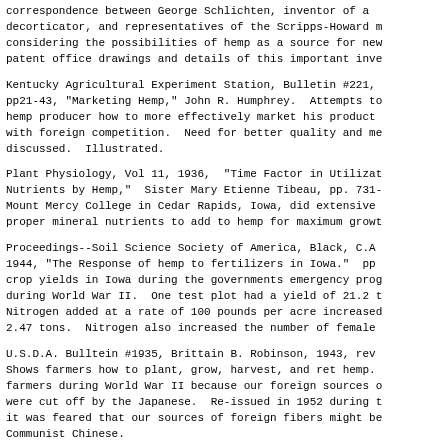correspondence between George Schlichten, inventor of a decorticator, and representatives of the Scripps-Howard m considering the possibilities of hemp as a source for new patent office drawings and details of this important inve
Kentucky Agricultural Experiment Station, Bulletin #221, pp21-43, "Marketing Hemp," John R. Humphrey. Attempts to hemp producer how to more effectively market his product with foreign competition. Need for better quality and me discussed. Illustrated.
Plant Physiology, Vol 11, 1936, "Time Factor in Utilizat Nutrients by Hemp," Sister Mary Etienne Tibeau, pp. 731- Mount Mercy College in Cedar Rapids, Iowa, did extensive proper mineral nutrients to add to hemp for maximum growt
Proceedings--Soil Science Society of America, Black, C.A 1944, "The Response of hemp to fertilizers in Iowa." pp crop yields in Iowa during the governments emergency prog during World War II. One test plot had a yield of 21.2 t Nitrogen added at a rate of 100 pounds per acre increased 2.47 tons. Nitrogen also increased the number of female
U.S.D.A. Bulltein #1935, Brittain B. Robinson, 1943, rev Shows farmers how to plant, grow, harvest, and ret hemp. farmers during World War II because our foreign sources o were cut off by the Japanese. Re-issued in 1952 during t it was feared that our sources of foreign fibers might be Communist Chinese.
Proceedings of Botany, Vol 71, 1971, pp 224-231, ...